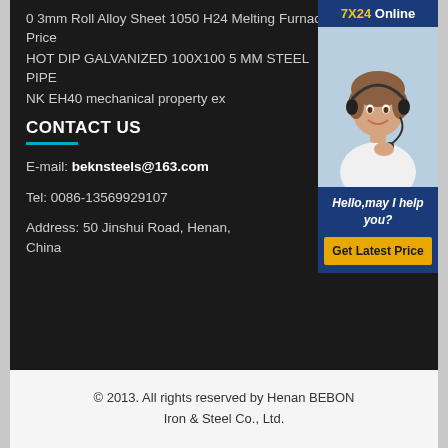0 3mm Roll Alloy Sheet 1050 H24 Melting Furnace Price
HOT DIP GALVANIZED 100X100 5 MM STEEL PIPE
NK EH40 mechanical property ex
CONTACT US
E-mail: beknsteels@163.com
Tel: 0086-13569929107
Address: 50 Jinshui Road, Henan, China
[Figure (photo): Customer service representative with headset, chat widget with 7X24 Online label, Hello may I help you text, and Get Latest Price button]
© 2013. All rights reserved by Henan BEBON Iron & Steel Co., Ltd.